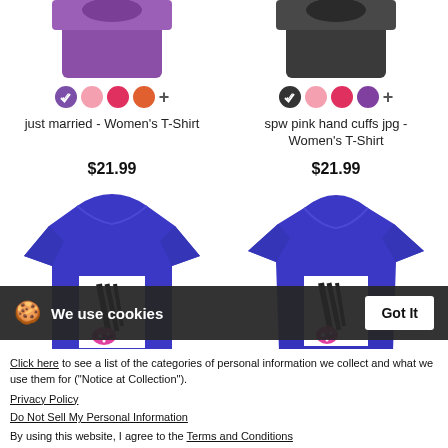[Figure (photo): Top portion of purple women's tank top product image]
[Figure (photo): Top portion of dark grey women's tank top product image]
just married - Women's T-Shirt
spw pink hand cuffs jpg - Women's T-Shirt
$21.99
$21.99
[Figure (photo): Blue men's t-shirt with black and pink ribbon graphic on white patch]
[Figure (photo): Blue women's t-shirt with black and pink ribbon graphic on white patch]
We use cookies
Got It
Click here to see a list of the categories of personal information we collect and what we use them for ("Notice at Collection").
Privacy Policy
Do Not Sell My Personal Information
By using this website, I agree to the Terms and Conditions
I Only Miss You When I Breathe 2 jpg - Women's Premium T-Shirt
I Only Miss You When I Breathe 2 jpg - Women's Premium T-Shirt